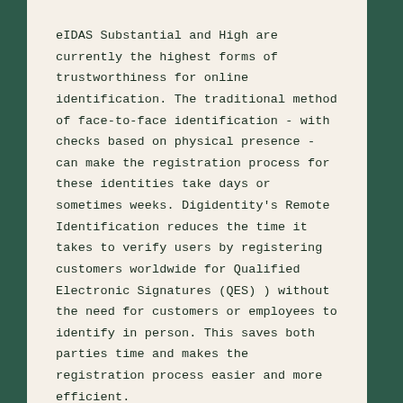eIDAS Substantial and High are currently the highest forms of trustworthiness for online identification. The traditional method of face-to-face identification - with checks based on physical presence - can make the registration process for these identities take days or sometimes weeks. Digidentity's Remote Identification reduces the time it takes to verify users by registering customers worldwide for Qualified Electronic Signatures (QES) ) without the need for customers or employees to identify in person. This saves both parties time and makes the registration process easier and more efficient.
During the COVID-19 pandemic, Digidentity has seen a significant increase in the demand for digital identities